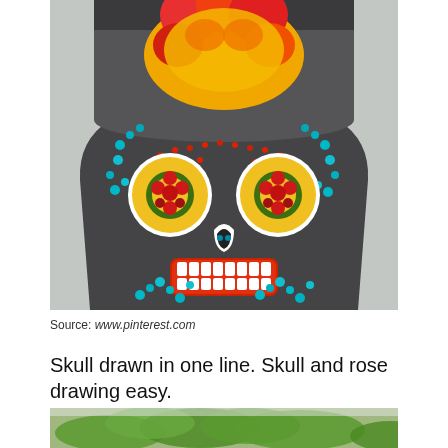[Figure (photo): A decorative terracotta flower pot painted with a colorful Day of the Dead sugar skull design. The skull features elaborate floral patterns in yellow, red, orange, and turquoise/blue on a black background, with flower-shaped eyes, stylized nose, and teeth visible.]
Source: www.pinterest.com
Skull drawn in one line. Skull and rose drawing easy.
[Figure (photo): Partial view of green leafy plants against a light background, cropped at the bottom of the page.]